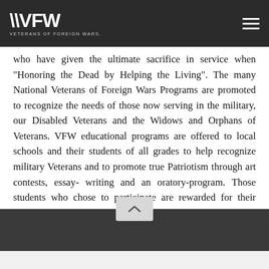VFW — Veterans of Foreign Wars
who have given the ultimate sacrifice in service when "Honoring the Dead by Helping the Living". The many National Veterans of Foreign Wars Programs are promoted to recognize the needs of those now serving in the military, our Disabled Veterans and the Widows and Orphans of Veterans. VFW educational programs are offered to local schools and their students of all grades to help recognize military Veterans and to promote true Patriotism through art contests, essay- writing and an oratory-program. Those students who chose to participate are rewarded for their efforts.